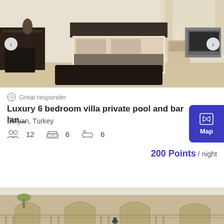[Figure (photo): Interior bedroom photo showing a double bed with dark floral pattern bedding, dark wooden desk on the left, TV on stand on the right, and a dark rug on the floor]
Great responder
Luxury 6 bedroom villa private pool and bar lan...
Dalyan, Turkey
12   6   6
200 Points / night
[Figure (photo): Exterior stone architectural photo showing arched balconies and ornate stone facade of a building, with palm trees visible]